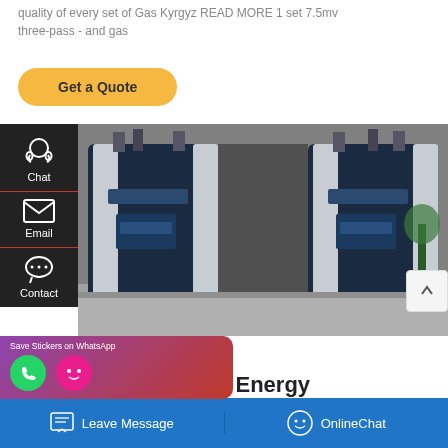quality of every set of Gas Kyrgyz READ MORE 1 set 7.5mv three-pass - and gas
Get a Quote
[Figure (screenshot): Sidebar with Chat, Email, Contact icons on dark background]
[Figure (photo): Industrial condensing boilers installed in a facility, two large navy-blue and white boiler units side by side]
Save Stickers on WhatsApp
ensing Boiler Energy
Leave Message
OnlineChat